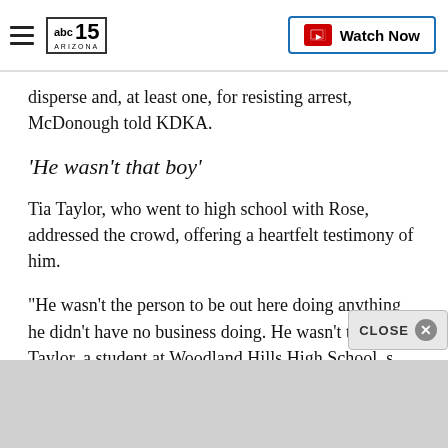abc15 ARIZONA — Watch Now
disperse and, at least one, for resisting arrest, McDonough told KDKA.
'He wasn't that boy'
Tia Taylor, who went to high school with Rose, addressed the crowd, offering a heartfelt testimony of him.
"He wasn't the person to be out here doing anything he didn't have no business doing. He wasn't that boy," Taylor, a student at Woodland Hills High School, s